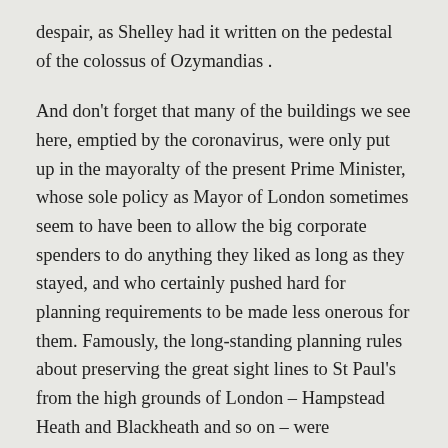despair, as Shelley had it written on the pedestal of the colossus of Ozymandias .
And don't forget that many of the buildings we see here, emptied by the coronavirus, were only put up in the mayoralty of the present Prime Minister, whose sole policy as Mayor of London sometimes seem to have been to allow the big corporate spenders to do anything they liked as long as they stayed, and who certainly pushed hard for planning requirements to be made less onerous for them. Famously, the long-standing planning rules about preserving the great sight lines to St Paul's from the high grounds of London – Hampstead Heath and Blackheath and so on – were abandoned during Johnson's time as Mayor. Would it be a kind of justice for those buildings to lie empty within a few years because they were never really necessary anyway? Is it already a kind of justice that the mayor's office (now in the hands